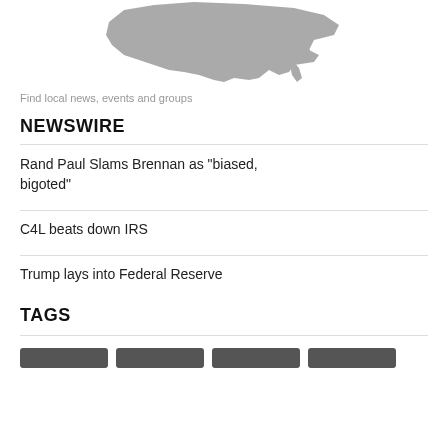[Figure (map): Grayscale map of the contiguous United States]
Find local news, events and groups
NEWSWIRE
Rand Paul Slams Brennan as "biased, bigoted"
C4L beats down IRS
Trump lays into Federal Reserve
TAGS